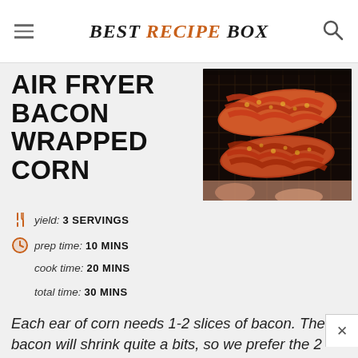BEST RECIPE BOX
AIR FRYER BACON WRAPPED CORN
[Figure (photo): Bacon-wrapped corn cobs in a black air fryer basket, held by hands]
yield: 3 SERVINGS
prep time: 10 MINS
cook time: 20 MINS
total time: 30 MINS
Each ear of corn needs 1-2 slices of bacon. The bacon will shrink quite a bits, so we prefer the 2 slices per ear. 1 slice of bacon will leave un-covered corn, so you'll need to spray with exposed corn with